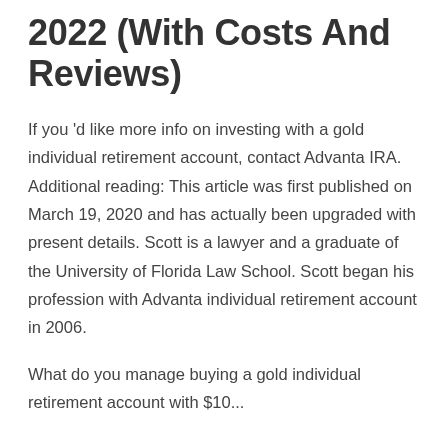2022 (With Costs And Reviews)
If you 'd like more info on investing with a gold individual retirement account, contact Advanta IRA. Additional reading: This article was first published on March 19, 2020 and has actually been upgraded with present details. Scott is a lawyer and a graduate of the University of Florida Law School. Scott began his profession with Advanta individual retirement account in 2006.
What do you manage buying a gold individual retirement account with $10...